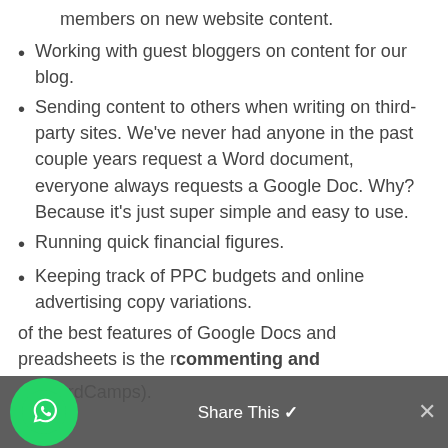members on new website content.
Working with guest bloggers on content for our blog.
Sending content to others when writing on third-party sites. We've never had anyone in the past couple years request a Word document, everyone always requests a Google Doc. Why? Because it's just super simple and easy to use.
Running quick financial figures.
Keeping track of PPC budgets and online advertising copy variations.
Analyzing CTR changes as it pertains to SERPs.
Writing up content for paid sponsorships (WordCamps).
of the best features of Google Docs and preadsheets is the r commenting and
Share This ×